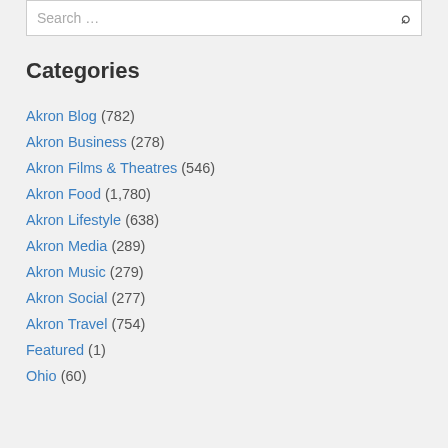Search …
Categories
Akron Blog (782)
Akron Business (278)
Akron Films & Theatres (546)
Akron Food (1,780)
Akron Lifestyle (638)
Akron Media (289)
Akron Music (279)
Akron Social (277)
Akron Travel (754)
Featured (1)
Ohio (60)